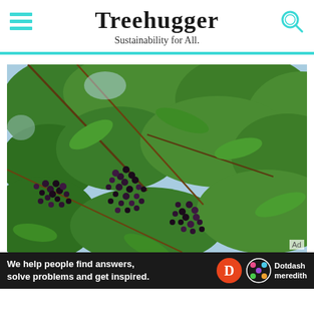Treehugger
Sustainability for All.
[Figure (photo): Close-up photo of an elderberry bush with clusters of small dark purple/black berries hanging from branches with green leaves, blue sky visible in background]
We help people find answers, solve problems and get inspired.